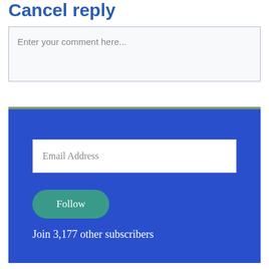Cancel reply
Enter your comment here...
Email Address
Follow
Join 3,177 other subscribers